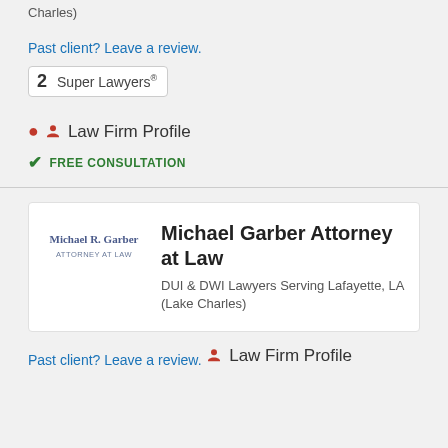Charles)
Past client? Leave a review.
2 Super Lawyers®
Law Firm Profile
FREE CONSULTATION
Michael Garber Attorney at Law
DUI & DWI Lawyers Serving Lafayette, LA (Lake Charles)
Past client? Leave a review.
Law Firm Profile